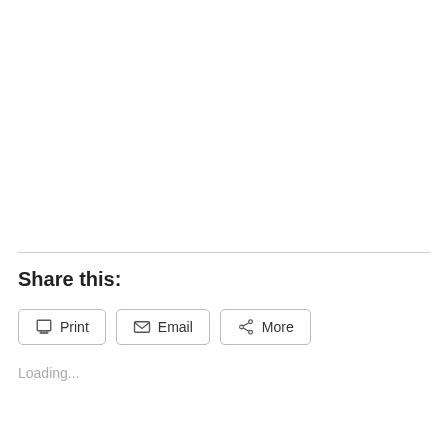Share this:
[Figure (other): Share buttons: Print, Email, More]
Loading...